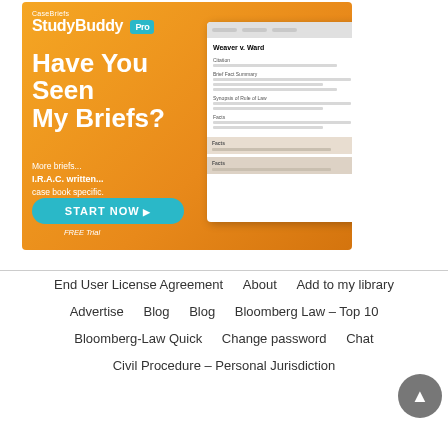[Figure (infographic): CaseBriefs StudyBuddy Pro advertisement banner with orange gradient background. Shows 'Have You Seen My Briefs?' headline, 'More briefs... I.R.A.C. written... case book specific.' subtext, a teal 'START NOW ▶' button, 'FREE Trial' text, and a mockup of a case brief card showing 'Weaver v. Ward' with Citation, Brief Fact Summary, Synopsis of Rule of Law, and Facts fields.]
End User License Agreement   About   Add to my library
Advertise   Blog   Blog   Bloomberg Law – Top 10
Bloomberg-Law Quick   Change password   Chat
Civil Procedure – Personal Jurisdiction